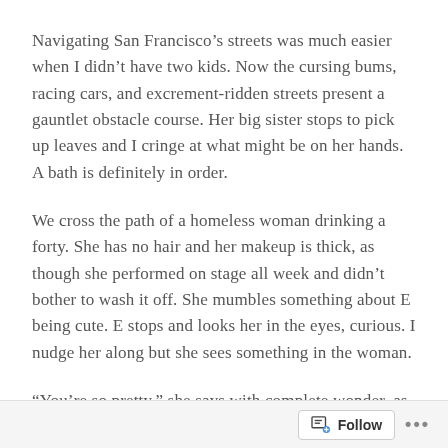Navigating San Francisco's streets was much easier when I didn't have two kids. Now the cursing bums, racing cars, and excrement-ridden streets present a gauntlet obstacle course. Her big sister stops to pick up leaves and I cringe at what might be on her hands. A bath is definitely in order.
We cross the path of a homeless woman drinking a forty. She has no hair and her makeup is thick, as though she performed on stage all week and didn't bother to wash it off. She mumbles something about E being cute. E stops and looks her in the eyes, curious. I nudge her along but she sees something in the woman.
“You’re so pretty,” she says with complete wonder, as if she’s looking at an entirely different person than the rest of us see,